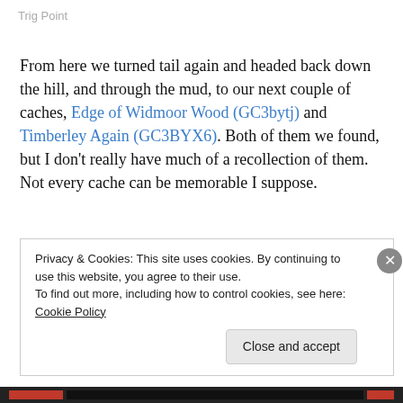Trig Point
From here we turned tail again and headed back down the hill, and through the mud, to our next couple of caches, Edge of Widmoor Wood (GC3bytj) and Timberley Again (GC3BYX6). Both of them we found, but I don't really have much of a recollection of them. Not every cache can be memorable I suppose.
Privacy & Cookies: This site uses cookies. By continuing to use this website, you agree to their use.
To find out more, including how to control cookies, see here: Cookie Policy
Close and accept